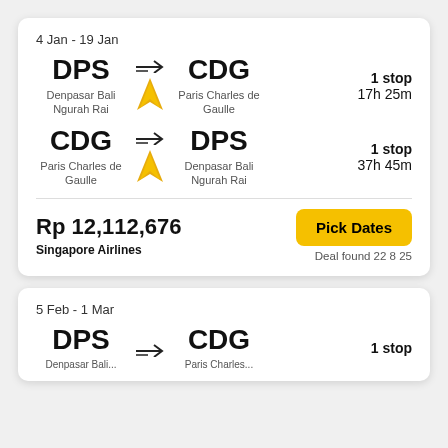4 Jan - 19 Jan
DPS → CDG | Denpasar Bali Ngurah Rai → Paris Charles de Gaulle | 1 stop | 17h 25m
CDG → DPS | Paris Charles de Gaulle → Denpasar Bali Ngurah Rai | 1 stop | 37h 45m
Rp 12,112,676
Singapore Airlines
Pick Dates
Deal found 22 8 25
5 Feb - 1 Mar
DPS → CDG | Denpasar Bali... | Paris Charles... | 1 stop